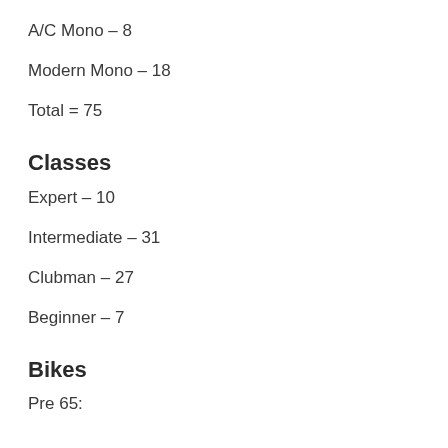A/C Mono – 8
Modern Mono – 18
Total = 75
Classes
Expert – 10
Intermediate – 31
Clubman – 27
Beginner – 7
Bikes
Pre 65: